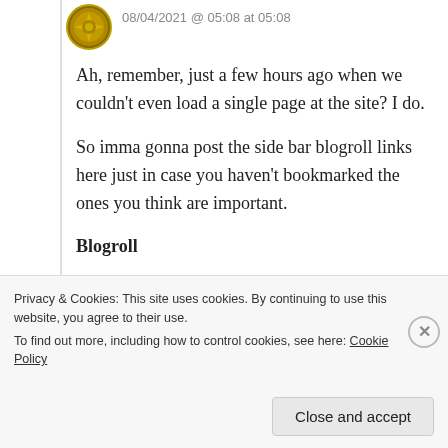08/04/2021 @ 05:08 at 05:08
Ah, remember, just a few hours ago when we couldn't even load a single page at the site? I do.
So imma gonna post the side bar blogroll links here just in case you haven't bookmarked the ones you think are important.
Blogroll
*** Daughn's Place
Privacy & Cookies: This site uses cookies. By continuing to use this website, you agree to their use.
To find out more, including how to control cookies, see here: Cookie Policy
Close and accept